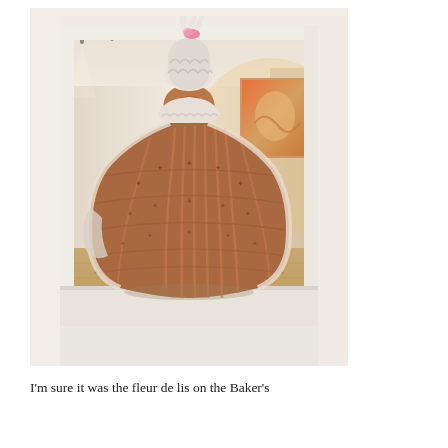[Figure (photo): A photograph taken inside a museum gallery. Viewed through a white doorway or window frame, a figure dressed in an elaborate historical costume (a large, ornate patterned dress with a full skirt, white fur trim, and a feathered hat with pink accent) stands with their back to the camera. The gallery beyond shows warm wood floors, white walls, track lighting, and artwork including a large orange painting and a dark sculptural piece.]
I'm sure it was the fleur de lis on the Baker's